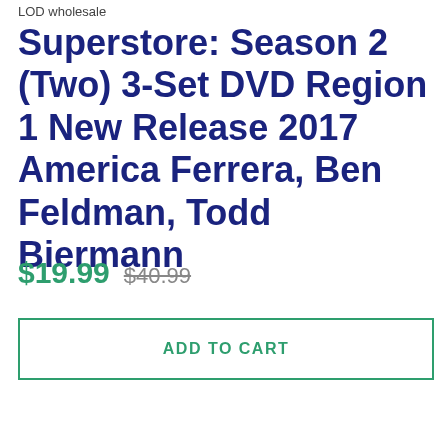LOD wholesale
Superstore: Season 2 (Two) 3-Set DVD Region 1 New Release 2017 America Ferrera, Ben Feldman, Todd Biermann
$19.99  $40.99
ADD TO CART